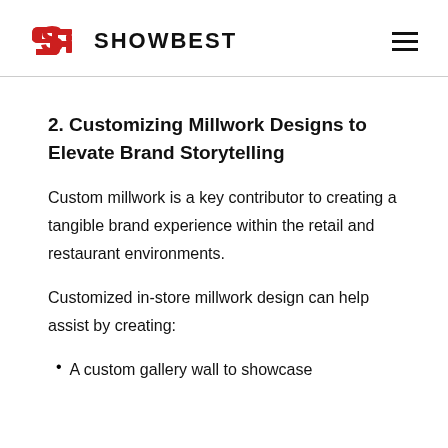SHOWBEST
2. Customizing Millwork Designs to Elevate Brand Storytelling
Custom millwork is a key contributor to creating a tangible brand experience within the retail and restaurant environments.
Customized in-store millwork design can help assist by creating:
A custom gallery wall to showcase